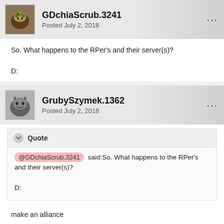GDchiaScrub.3241
Posted July 2, 2018
So. What happens to the RPer's and their server(s)?

D:
GrubySzymek.1362
Posted July 2, 2018
Quote
@GDchiaScrub.3241 said:So. What happens to the RPer's and their server(s)?

D:
make an alliance